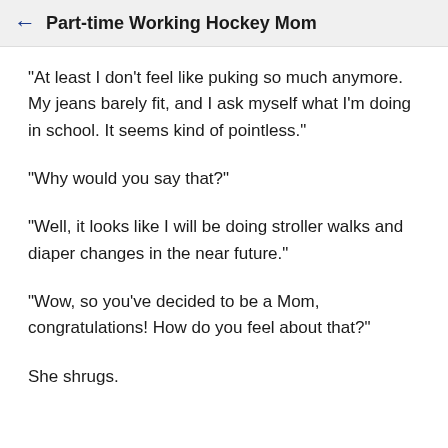Part-time Working Hockey Mom
"At least I don't feel like puking so much anymore. My jeans barely fit, and I ask myself what I'm doing in school. It seems kind of pointless."
"Why would you say that?"
"Well, it looks like I will be doing stroller walks and diaper changes in the near future."
"Wow, so you've decided to be a Mom, congratulations! How do you feel about that?"
She shrugs.